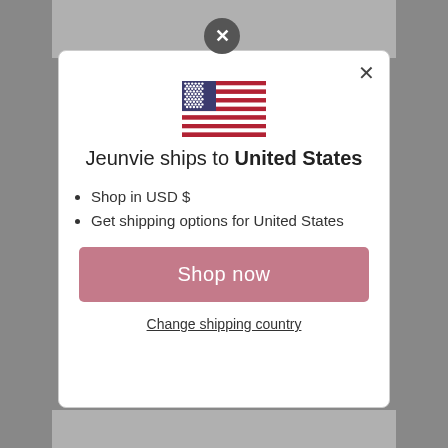[Figure (illustration): US flag emoji/icon shown in the modal dialog]
Jeunvie ships to United States
Shop in USD $
Get shipping options for United States
Shop now
Change shipping country